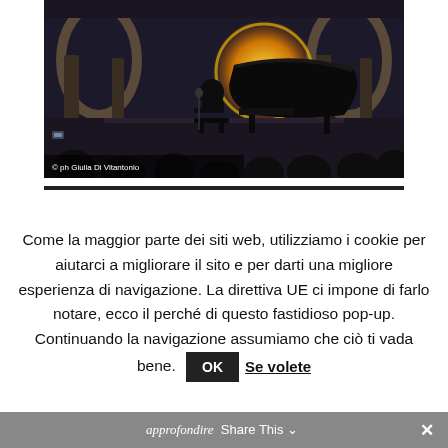[Figure (photo): A pianist performing on stage with a grand piano, lit by a large circular amber/yellow light behind them in an ornate concert hall. Audience visible in foreground silhouette.]
© ph Giulia Di Vitantonio
Come la maggior parte dei siti web, utilizziamo i cookie per aiutarci a migliorare il sito e per darti una migliore esperienza di navigazione. La direttiva UE ci impone di farlo notare, ecco il perché di questo fastidioso pop-up. Continuando la navigazione assumiamo che ciò ti vada bene.
OK
Se volete
approfondire  Share This  ✕